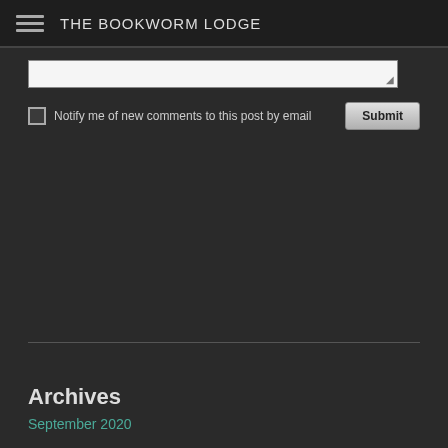THE BOOKWORM LODGE
[Figure (screenshot): Text area input field with resize handle at bottom-right]
Notify me of new comments to this post by email
Archives
September 2020